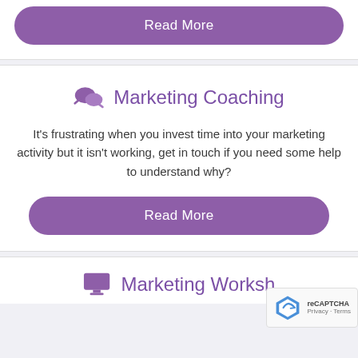[Figure (other): Purple Read More button at top of page]
Marketing Coaching
It's frustrating when you invest time into your marketing activity but it isn't working, get in touch if you need some help to understand why?
[Figure (other): Purple Read More button]
Marketing Worksh...